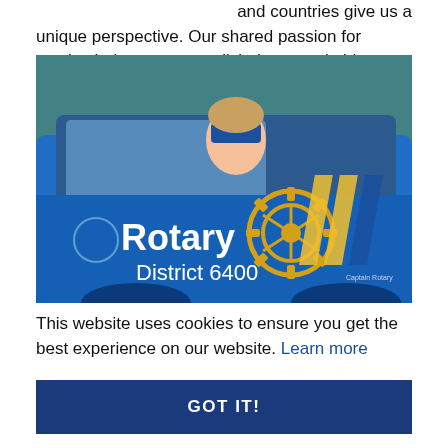and countries give us a unique perspective. Our shared passion for service helps us accomplish the remarkable.
[Figure (photo): A bright blue car with 'Rotary District 6400' branding and the Rotary International gear logo on the door. A person wearing a blue superhero mask is visible through the car window. The car has yellow and blue striped decals and text reading 'Captain Rotary'.]
This website uses cookies to ensure you get the best experience on our website. Learn more
GOT IT!